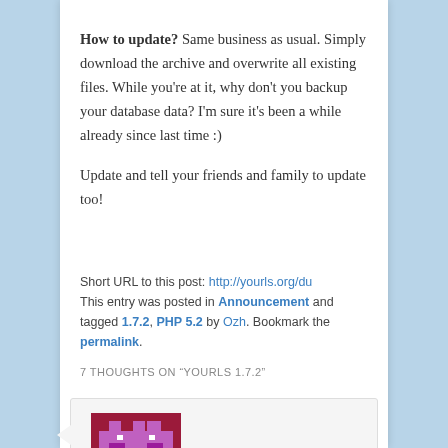How to update? Same business as usual. Simply download the archive and overwrite all existing files. While you're at it, why don't you backup your database data? I'm sure it's been a while already since last time :)
Update and tell your friends and family to update too!
Short URL to this post: http://yourls.org/du
This entry was posted in Announcement and tagged 1.7.2, PHP 5.2 by Ozh. Bookmark the permalink.
7 THOUGHTS ON "YOURLS 1.7.2"
[Figure (illustration): Pixel art avatar icon — maroon/dark red background with purple/violet pixel character design]